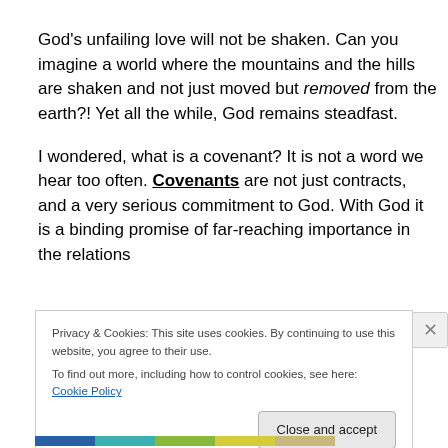God's unfailing love will not be shaken. Can you imagine a world where the mountains and the hills are shaken and not just moved but removed from the earth?! Yet all the while, God remains steadfast.
I wondered, what is a covenant? It is not a word we hear too often. Covenants are not just contracts, and a very serious commitment to God. With God it is a binding promise of far-reaching importance in the relations
Privacy & Cookies: This site uses cookies. By continuing to use this website, you agree to their use.
To find out more, including how to control cookies, see here: Cookie Policy